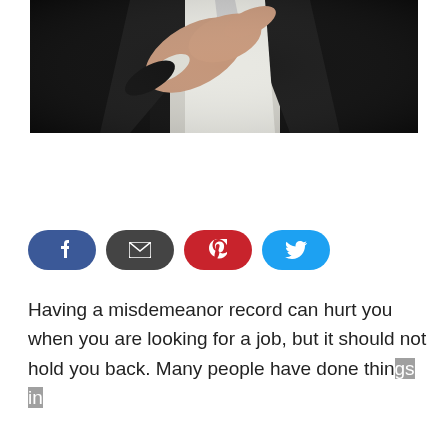[Figure (photo): Close-up photo of a man in a dark suit extending his hand for a handshake, wearing a white dress shirt, dark background]
[Figure (infographic): Social media share buttons: Facebook (blue), Email (dark gray), Pinterest (red), Twitter (cyan blue)]
Having a misdemeanor record can hurt you when you are looking for a job, but it should not hold you back. Many people have done things in